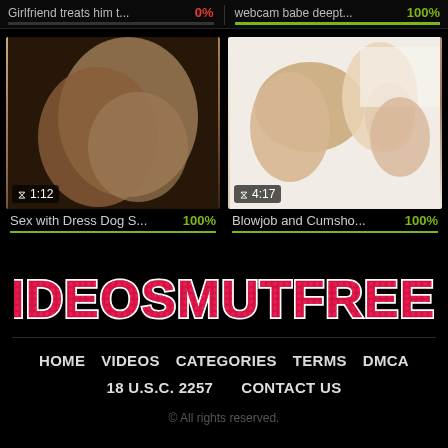Girlfriend treats him t... 0% | webcam babe deept... 100%
[Figure (screenshot): Video thumbnail left: blurry skin-tone close-up, duration 1:12]
[Figure (screenshot): Video thumbnail right: explicit adult content, duration 4:17]
Sex with Dress Dog S... 100% | Blowjob and Cumsho... 100%
[Figure (logo): VIDEOSMUTFREEK logo in pink/red bold text with white outline on black background]
HOME   VIDEOS   CATEGORIES   TERMS   DMCA
18 U.S.C. 2257   CONTACT US
© All rights reserved.